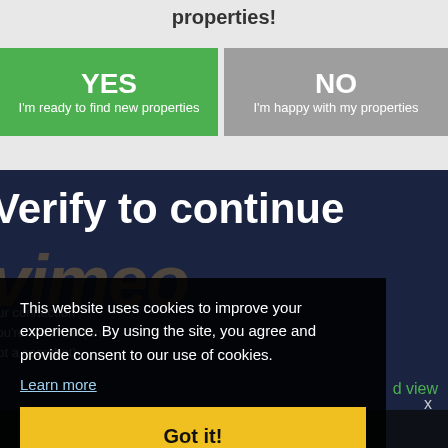properties!
YES
I'm ready to find new properties
NO
I'm happy with my properties
Verify to continue
This website uses cookies to improve your experience. By using the site, you agree and provide consent to our use of cookies.
Learn more
Got it!
d view
x
unlimited sponsorship proposals for FREE!